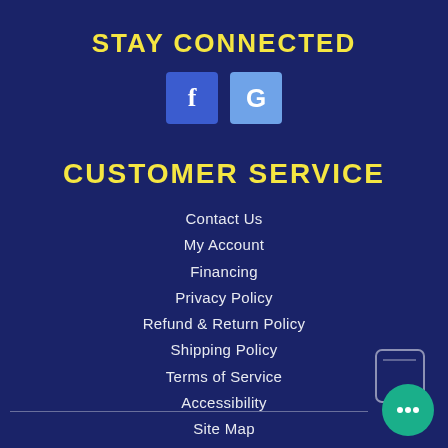STAY CONNECTED
[Figure (illustration): Social media icons: Facebook (f) and Google (G) as square buttons]
CUSTOMER SERVICE
Contact Us
My Account
Financing
Privacy Policy
Refund & Return Policy
Shipping Policy
Terms of Service
Accessibility
Site Map
Do Not Sell My Personal Information
[Figure (illustration): Chat widget with phone icon outline and green circular chat bubble icon in bottom right corner]